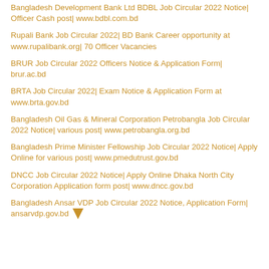Bangladesh Development Bank Ltd BDBL Job Circular 2022 Notice| Officer Cash post| www.bdbl.com.bd
Rupali Bank Job Circular 2022| BD Bank Career opportunity at www.rupalibank.org| 70 Officer Vacancies
BRUR Job Circular 2022 Officers Notice & Application Form| brur.ac.bd
BRTA Job Circular 2022| Exam Notice & Application Form at www.brta.gov.bd
Bangladesh Oil Gas & Mineral Corporation Petrobangla Job Circular 2022 Notice| various post| www.petrobangla.org.bd
Bangladesh Prime Minister Fellowship Job Circular 2022 Notice| Apply Online for various post| www.pmedutrust.gov.bd
DNCC Job Circular 2022 Notice| Apply Online Dhaka North City Corporation Application form post| www.dncc.gov.bd
Bangladesh Ansar VDP Job Circular 2022 Notice, Application Form| ansarvdp.gov.bd